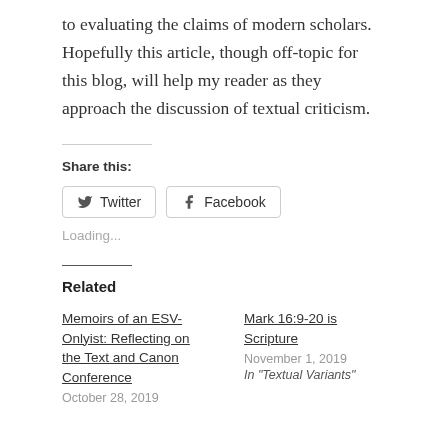to evaluating the claims of modern scholars. Hopefully this article, though off-topic for this blog, will help my reader as they approach the discussion of textual criticism.
Share this:
Twitter  Facebook
Loading...
Related
Memoirs of an ESV-Onlyist: Reflecting on the Text and Canon Conference
October 28, 2019
Mark 16:9-20 is Scripture
November 1, 2019
In "Textual Variants"